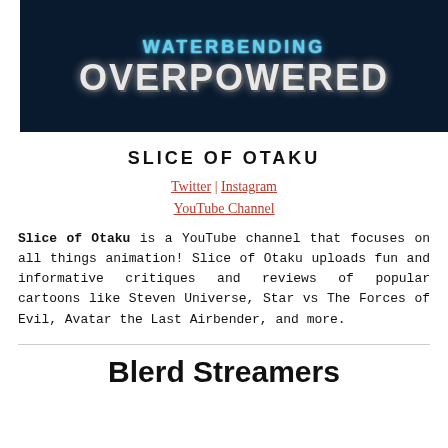[Figure (illustration): Banner image with dark blue background showing 'WATERBENDING OVERPOWERED' text with water/animation effects]
SLICE OF OTAKU
Twitter | Instagram
YouTube Channel
Slice of Otaku is a YouTube channel that focuses on all things animation! Slice of Otaku uploads fun and informative critiques and reviews of popular cartoons like Steven Universe, Star vs The Forces of Evil, Avatar the Last Airbender, and more.
Blerd Streamers